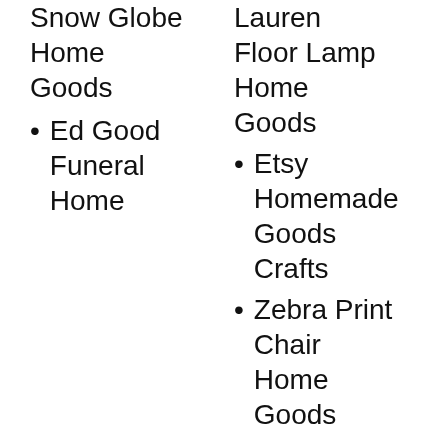Snow Globe Home Goods
Ed Good Funeral Home
Lauren Floor Lamp Home Goods
Etsy Homemade Goods Crafts
Zebra Print Chair Home Goods